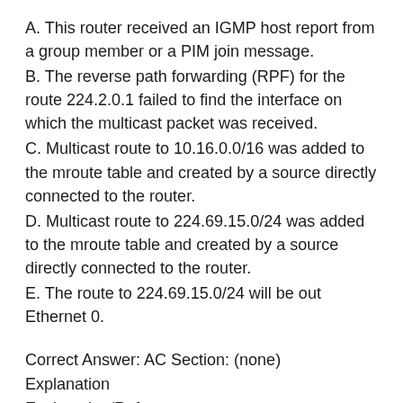A. This router received an IGMP host report from a group member or a PIM join message.
B. The reverse path forwarding (RPF) for the route 224.2.0.1 failed to find the interface on which the multicast packet was received.
C. Multicast route to 10.16.0.0/16 was added to the mroute table and created by a source directly connected to the router.
D. Multicast route to 224.69.15.0/24 was added to the mroute table and created by a source directly connected to the router.
E. The route to 224.69.15.0/24 will be out Ethernet 0.
Correct Answer: AC Section: (none)
Explanation
Explanation/Reference: